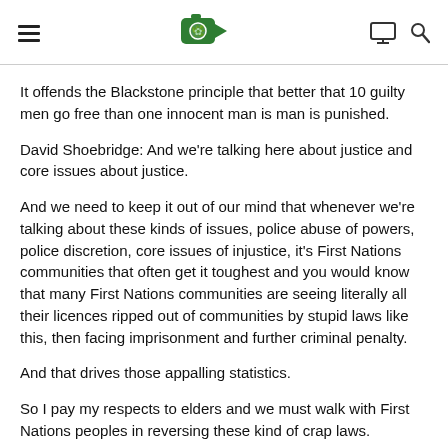[Navigation header with hamburger menu, cannabis video logo, monitor icon, and search icon]
It offends the Blackstone principle that better that 10 guilty men go free than one innocent man is man is punished.
David Shoebridge: And we're talking here about justice and core issues about justice.
And we need to keep it out of our mind that whenever we're talking about these kinds of issues, police abuse of powers, police discretion, core issues of injustice, it's First Nations communities that often get it toughest and you would know that many First Nations communities are seeing literally all their licences ripped out of communities by stupid laws like this, then facing imprisonment and further criminal penalty.
And that drives those appalling statistics.
So I pay my respects to elders and we must walk with First Nations peoples in reversing these kind of crap laws.